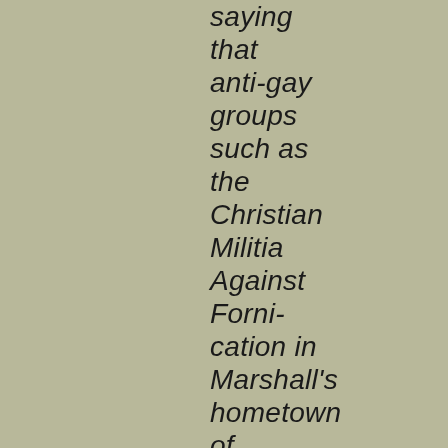saying that anti-gay groups such as the Christian Militia Against Forni-cation in Marshall's hometown of Atlanta, Ga., are none too pleased with the woman's